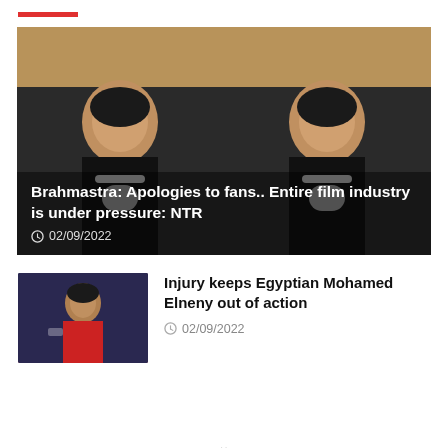[Figure (photo): Two side-by-side photos of a man speaking into a microphone, with an overlay headline and date]
Brahmastra: Apologies to fans.. Entire film industry is under pressure: NTR
02/09/2022
[Figure (photo): Thumbnail of a football player in a red and white Arsenal kit]
Injury keeps Egyptian Mohamed Elneny out of action
02/09/2022